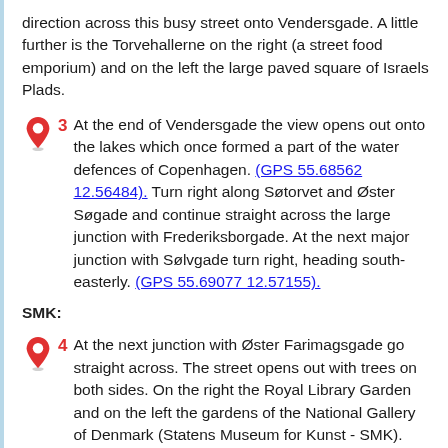direction across this busy street onto Vendersgade. A little further is the Torvehallerne on the right (a street food emporium) and on the left the large paved square of Israels Plads.
3  At the end of Vendersgade the view opens out onto the lakes which once formed a part of the water defences of Copenhagen. (GPS 55.68562 12.56484). Turn right along Søtorvet and Øster Søgade and continue straight across the large junction with Frederiksborgade. At the next major junction with Sølvgade turn right, heading south-easterly. (GPS 55.69077 12.57155).
SMK:
4  At the next junction with Øster Farimagsgade go straight across. The street opens out with trees on both sides. On the right the Royal Library Garden and on the left the gardens of the National Gallery of Denmark (Statens Museum for Kunst - SMK).
At the next junction with SMK on your left (Georg Brandes Plads), turn left onto Øster Voldgade. (GPS 55.68749